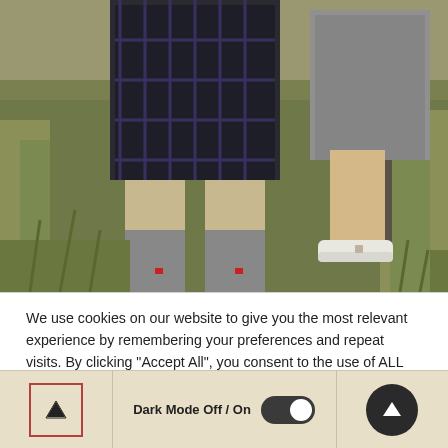[Figure (photo): Outdoor scene showing lower halves of two people standing in a field with tall grass. One person is wearing a dark kilt and grey knee-high socks, the other is wearing a grey skirt and white flat shoes. A wooden fence post is visible on the right.]
We use cookies on our website to give you the most relevant experience by remembering your preferences and repeat visits. By clicking "Accept All", you consent to the use of ALL the cookies. However, you may visit "Cookie Settings" to provide a controlled consent.